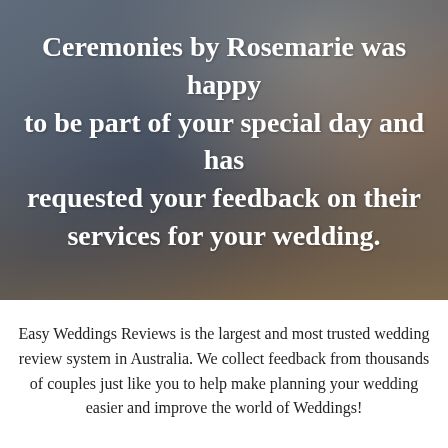[Figure (photo): A couple sitting together looking at a laptop, with a coffee mug and camera on a wooden table in the foreground. The image has a muted, slightly dark tone.]
Ceremonies by Rosemarie was happy to be part of your special day and has requested your feedback on their services for your wedding.
Easy Weddings Reviews is the largest and most trusted wedding review system in Australia. We collect feedback from thousands of couples just like you to help make planning your wedding easier and improve the world of Weddings!